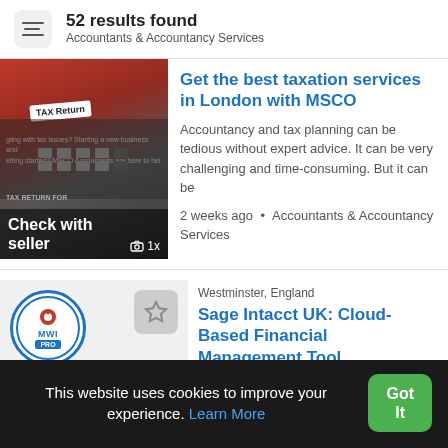52 results found
Accountants & Accountancy Services
[Figure (photo): Photo of tax return documents and calculator with 'Check with seller' overlay text and '1x' photo count badge]
Get the best taxation services in London with MSCO
Accountancy and tax planning can be tedious without expert advice. It can be very challenging and time-consuming. But it can be
2 weeks ago • Accountants & Accountancy Services
[Figure (logo): MWI PRO logo circle in blue and white with star/favorite button]
Westminster, England
Sage Intacct UK: Cloud-Based Financial Management Tool
Are you looking for financial management software? If yes, you must look at Sage Intacct UK software. It is a cloud-based financial
This website uses cookies to improve your experience. Learn More
Got It